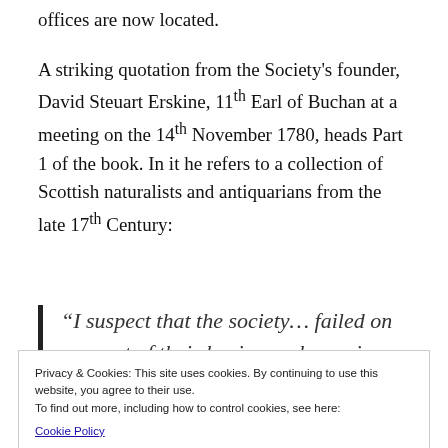offices are now located.
A striking quotation from the Society's founder, David Steuart Erskine, 11th Earl of Buchan at a meeting on the 14th November 1780, heads Part 1 of the book. In it he refers to a collection of Scottish naturalists and antiquarians from the late 17th Century:
“I suspect that the society… failed on account of their having no house in
Privacy & Cookies: This site uses cookies. By continuing to use this website, you agree to their use.
To find out more, including how to control cookies, see here:
Cookie Policy
and anamolous conversations. All